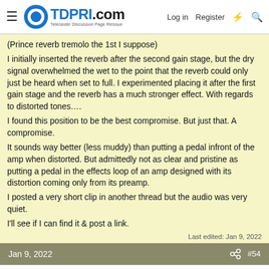TDPRI.com – Telecaster Discussion Page Reissue | Log in | Register
(Prince reverb tremolo the 1st I suppose)
I initially inserted the reverb after the second gain stage, but the dry signal overwhelmed the wet to the point that the reverb could only just be heard when set to full. I experimented placing it after the first gain stage and the reverb has a much stronger effect. With regards to distorted tones….
I found this position to be the best compromise. But just that. A compromise.
It sounds way better (less muddy) than putting a pedal infront of the amp when distorted. But admittedly not as clear and pristine as putting a pedal in the effects loop of an amp designed with its distortion coming only from its preamp.
I posted a very short clip in another thread but the audio was very quiet.
I'll see if I can find it & post a link.
Last edited: Jan 9, 2022
Jan 9, 2022  #54
Bitsleftover